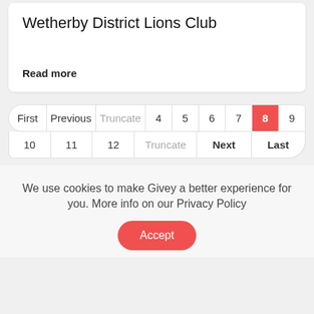Wetherby District Lions Club
Read more
First Previous Truncate 4 5 6 7 8 9 10 11 12 Truncate Next Last
We use cookies to make Givey a better experience for you. More info on our Privacy Policy
Accept